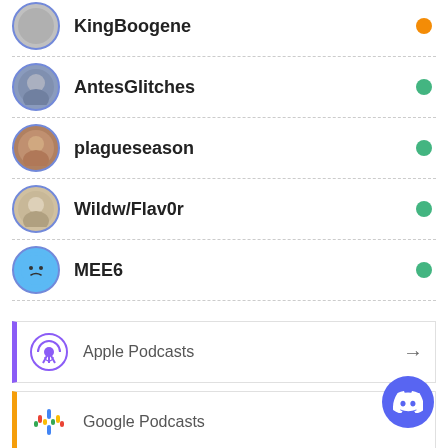KingBoogene - orange status
AntesGlitches - green status
plagueseason - green status
Wildw/Flav0r - green status
MEE6 - green status
Apple Podcasts
Google Podcasts
Android
[Figure (logo): Discord button circle logo in bottom right]